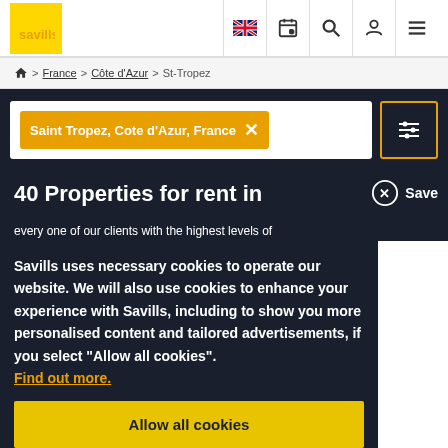[Figure (logo): Savills logo — yellow background with orange 'savills' text]
🇬🇧 [calendar icon] [search icon] [user icon] [menu icon]
🏠 > France > Côte d'Azur > St-Tropez
Saint Tropez, Cote d'Azur, France ×
[filter/sliders icon]
40 Properties for rent in ...
Save
Savills uses necessary cookies to operate our website. We will also use cookies to enhance your experience with Savills, including to show you more personalised content and tailored advertisements, if you select "Allow all cookies". Find out more.
Allow all cookies
every one of our clients with the highest levels of support and insight into the market...